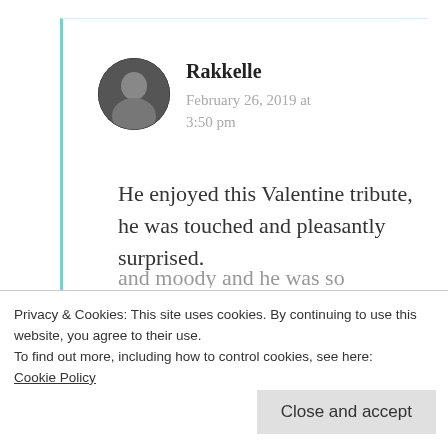[Figure (photo): Circular avatar photo of a person in black and white]
Rakkelle
February 26, 2019 at 3:50 pm
He enjoyed this Valentine tribute, he was touched and pleasantly surprised.
Privacy & Cookies: This site uses cookies. By continuing to use this website, you agree to their use.
To find out more, including how to control cookies, see here:
Cookie Policy
Close and accept
and moody and he was so